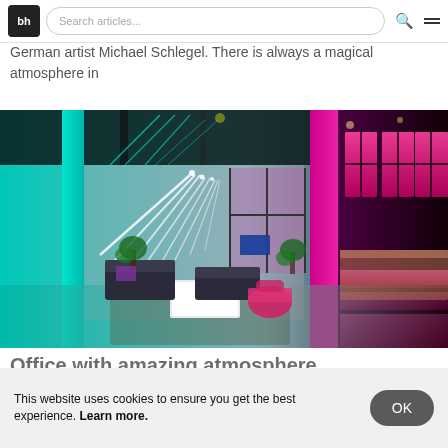bh [logo] | Search articles... [search bar] [search icon] [menu icon]
German artist Michael Schlegel. There is always a magical atmosphere in
[Figure (photo): Interior photo of a modern office/lounge space with neon lighting — teal/cyan on the left side, bright magenta/pink on the right. Features sofas, a white coffee table, lounge chairs, and large windows with pink-lit panes.]
Office with amazing atmosphere
This website uses cookies to ensure you get the best experience. Learn more.